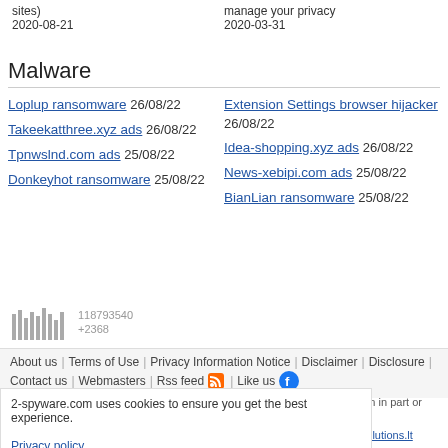sites) 2020-08-21
manage your privacy 2020-03-31
Malware
Loplup ransomware 26/08/22
Takeekatthree.xyz ads 26/08/22
Tpnwslnd.com ads 25/08/22
Donkeyhot ransomware 25/08/22
Extension Settings browser hijacker 26/08/22
Idea-shopping.xyz ads 26/08/22
News-xebipi.com ads 25/08/22
BianLian ransomware 25/08/22
[Figure (other): Visit counter showing 118793540 +2368 with bar chart graphic]
About us | Terms of Use | Privacy Information Notice | Disclaimer | Disclosure | Contact us | Webmasters | Rss feed | Like us
2-spyware.com uses cookies to ensure you get the best experience. Privacy policy
duction in part or whole by esolutions.lt